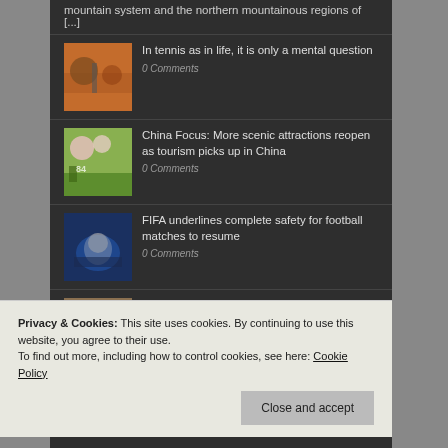mountain system and the northern mountainous regions of [...]
In tennis as in life, it is only a mental question | 0 Comments
China Focus: More scenic attractions reopen as tourism picks up in China | 0 Comments
FIFA underlines complete safety for football matches to resume | 0 Comments
Yemen's historic castle in Saada stands at risk | 0 Comments
Privacy & Cookies: This site uses cookies. By continuing to use this website, you agree to their use.
To find out more, including how to control cookies, see here: Cookie Policy